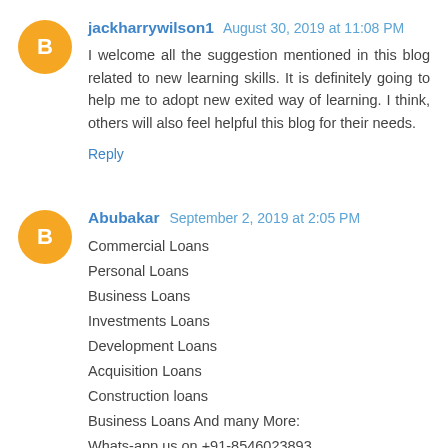jackharrywilson1  August 30, 2019 at 11:08 PM
I welcome all the suggestion mentioned in this blog related to new learning skills. It is definitely going to help me to adopt new exited way of learning. I think, others will also feel helpful this blog for their needs.
Reply
Abubakar  September 2, 2019 at 2:05 PM
Commercial Loans
Personal Loans
Business Loans
Investments Loans
Development Loans
Acquisition Loans
Construction loans
Business Loans And many More:
Whats-app us on +91-8546023893
Contact Us At : clemalphafinance@gmail.com
Mr.Clem Alpha